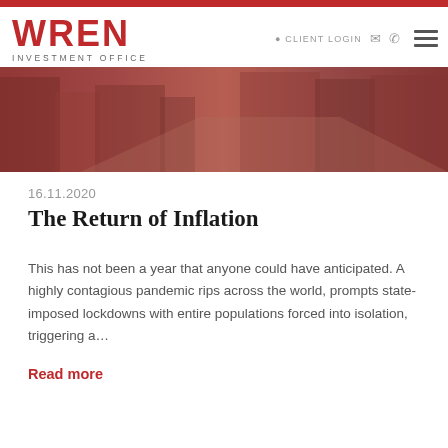CLIENT LOGIN
[Figure (logo): WREN INVESTMENT OFFICE logo in red]
[Figure (photo): Street scene with buildings, reddish-toned banner image]
16.11.2020
The Return of Inflation
This has not been a year that anyone could have anticipated. A highly contagious pandemic rips across the world, prompts state-imposed lockdowns with entire populations forced into isolation, triggering a…
Read more